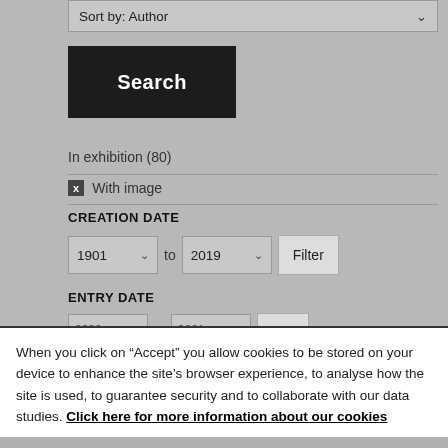[Figure (screenshot): Web interface screenshot showing search filters: Sort by Author dropdown, Search button, In exhibition (80) filter, With image filter with X badge, Creation Date filter with dropdowns 1901 to 2019 and Filter button, Entry Date section partially visible]
When you click on “Accept” you allow cookies to be stored on your device to enhance the site’s browser experience, to analyse how the site is used, to guarantee security and to collaborate with our data studies. Click here for more information about our cookies